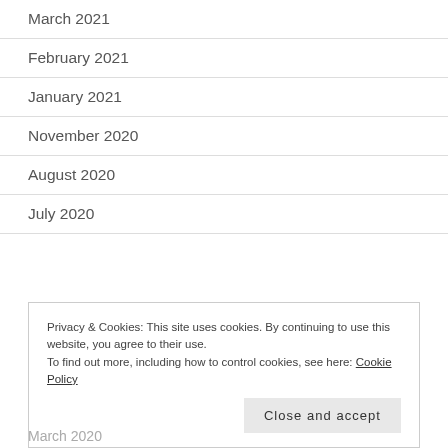March 2021
February 2021
January 2021
November 2020
August 2020
July 2020
Privacy & Cookies: This site uses cookies. By continuing to use this website, you agree to their use.
To find out more, including how to control cookies, see here: Cookie Policy
March 2020